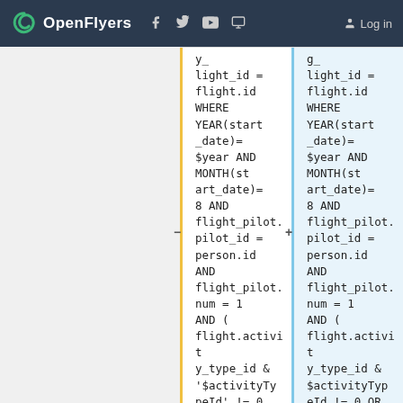OpenFlyers | Log in
light_id = flight.id WHERE YEAR(start_date)= $year AND MONTH(start_date)= 8 AND flight_pilot.pilot_id = person.id AND flight_pilot.num = 1 AND ( flight.activity_type_id & '$activityTypeId' != 0
light_id = flight.id WHERE YEAR(start_date)= $year AND MONTH(start_date)= 8 AND flight_pilot.pilot_id = person.id AND flight_pilot.num = 1 AND ( flight.activity_type_id & $activityTypeId != 0 OR